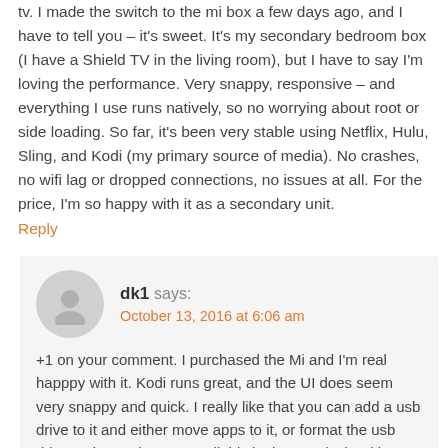tv. I made the switch to the mi box a few days ago, and I have to tell you – it's sweet. It's my secondary bedroom box (I have a Shield TV in the living room), but I have to say I'm loving the performance. Very snappy, responsive – and everything I use runs natively, so no worrying about root or side loading. So far, it's been very stable using Netflix, Hulu, Sling, and Kodi (my primary source of media). No crashes, no wifi lag or dropped connections, no issues at all. For the price, I'm so happy with it as a secondary unit.
Reply
dk1 says:
October 13, 2016 at 6:06 am
+1 on your comment. I purchased the Mi and I'm real happpy with it. Kodi runs great, and the UI does seem very snappy and quick. I really like that you can add a usb drive to it and either move apps to it, or format the usb drive as internal storage. All this is done natively without having to root it or run scripts or anything. I can sideload apps on it using es file explorer but haven't been able to successfully all but think it at least...